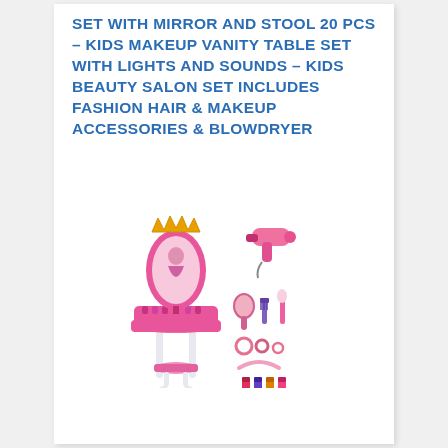SET WITH MIRROR AND STOOL 20 PCS – KIDS MAKEUP VANITY TABLE SET WITH LIGHTS AND SOUNDS – KIDS BEAUTY SALON SET INCLUDES FASHION HAIR & MAKEUP ACCESSORIES & BLOWDRYER
[Figure (photo): Pink kids makeup vanity table set with mirror, stool, and accessories including a blowdryer, hairbrush, comb, mirror, jewelry, and nail polish bottles]